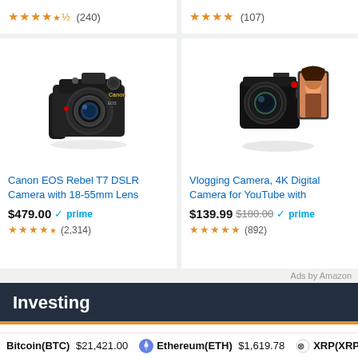★★★★½ (240)
★★★★ (107)
[Figure (photo): Canon EOS Rebel T7 DSLR camera with 18-55mm lens, black body]
Canon EOS Rebel T7 DSLR Camera with 18-55mm Lens
$479.00 ✓prime ★★★★½ (2,314)
[Figure (photo): Vlogging camera 4K digital camera with flip screen showing a woman's face]
Vlogging Camera, 4K Digital Camera for YouTube with
$139.99 $180.00 ✓prime ★★★★★ (892)
Ads by Amazon
Investing
Harry Dent: The Stock Market Crash of 2022 –
Bitcoin(BTC) $21,421.00   Ethereum(ETH) $1,619.78   XRP(XRP) $0.3